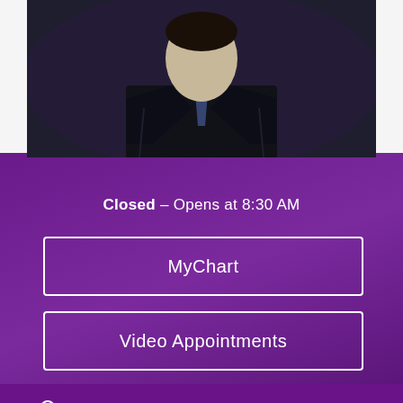[Figure (photo): Headshot of a male physician in a dark suit with a blue patterned tie, cropped from shoulders up]
Closed – Opens at 8:30 AM
MyChart
Video Appointments
WELCOMING NEW PATIENTS
Services
See Additional Locations